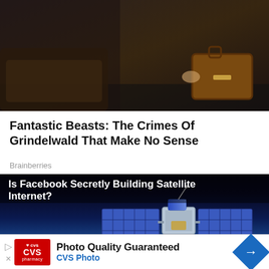[Figure (photo): Dark moody photo showing a person in dark clothing near a leather suitcase, cinematic style]
Fantastic Beasts: The Crimes Of Grindelwald That Make No Sense
Brainberries
[Figure (screenshot): Video thumbnail showing satellite in space above Earth with blue atmosphere, with red play button overlay and title 'Is Facebook Secretly Building Satellite Internet?']
Photo Quality Guaranteed
CVS Photo